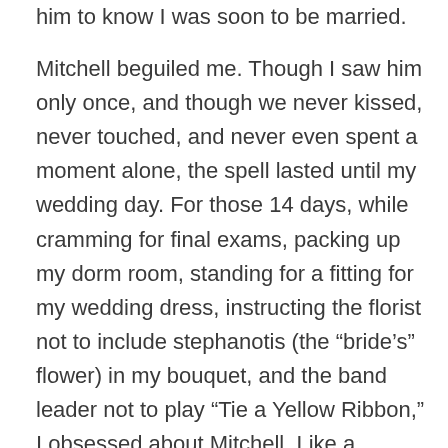him to know I was soon to be married.

Mitchell beguiled me. Though I saw him only once, and though we never kissed, never touched, and never even spent a moment alone, the spell lasted until my wedding day. For those 14 days, while cramming for final exams, packing up my dorm room, standing for a fitting for my wedding dress, instructing the florist not to include stephanotis (the “bride’s” flower) in my bouquet, and the band leader not to play “Tie a Yellow Ribbon,” I obsessed about Mitchell. Like a continuous tape, thoughts looped through my mind: What was Mitchell doing? Was he dating anyone? Had he asked my friend about me? Wh...